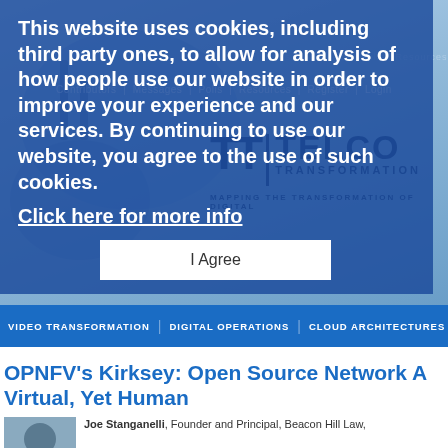[Figure (screenshot): Telco Transformation website header banner with blue abstract background and logo]
Contributors | Messages | Polls | Resources | Register | Login
This website uses cookies, including third party ones, to allow for analysis of how people use our website in order to improve your experience and our services. By continuing to use our website, you agree to the use of such cookies.
Click here for more info
I Agree
VIDEO TRANSFORMATION | DIGITAL OPERATIONS | CLOUD ARCHITECTURES
OPNFV's Kirksey: Open Source Network A Virtual, Yet Human
Joe Stanganelli, Founder and Principal, Beacon Hill Law,